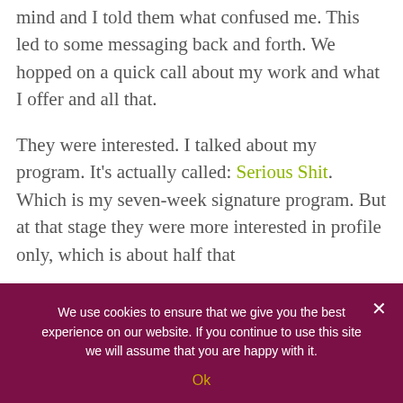mind and I told them what confused me. This led to some messaging back and forth. We hopped on a quick call about my work and what I offer and all that.
They were interested. I talked about my program. It's actually called: Serious Shit. Which is my seven-week signature program. But at that stage they were more interested in profile only, which is about half that
We use cookies to ensure that we give you the best experience on our website. If you continue to use this site we will assume that you are happy with it.
Ok